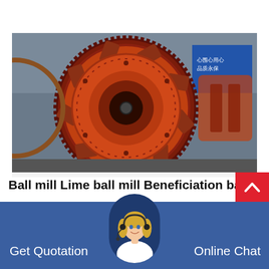[Figure (photo): Front view of a large orange industrial ball mill machine with circular drum, gear ring, and internal structure visible, photographed in a factory setting with Chinese signage in background]
Ball mill Lime ball mill Beneficiation ball m
Jul 02, 2021 Tongjia Industrial equipment focuses on b...
Get Quotation
Online Chat